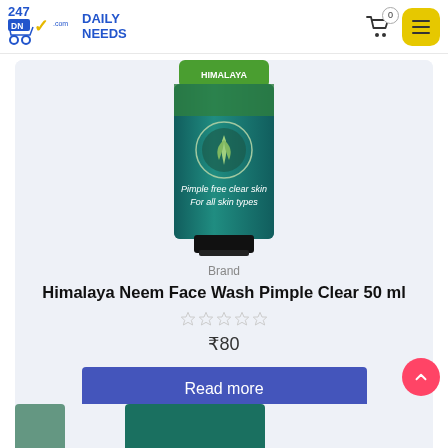247 DN Daily Needs — 0 (cart)
[Figure (photo): Himalaya Neem Face Wash Pimple Clear 50ml product tube — green and teal packaging with 'Pimple free clear skin, For all skin types' text and a botanical seal]
Brand
Himalaya Neem Face Wash Pimple Clear 50 ml
☆☆☆☆☆ (0 stars)
₹80
Read more